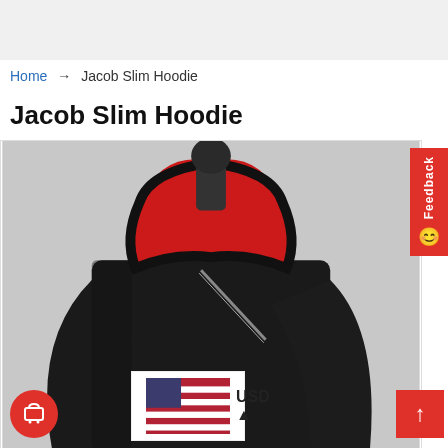Home → Jacob Slim Hoodie
Jacob Slim Hoodie
[Figure (photo): A black slim-fit hoodie on a headless mannequin. The hood is folded back revealing a bright red lining. The hoodie has a diagonal asymmetric zipper. The background is light grey.]
USD ▲